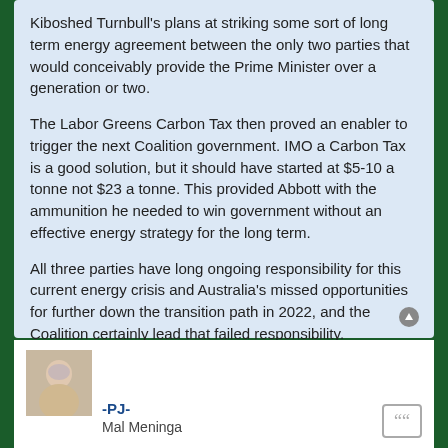Kiboshed Turnbull's plans at striking some sort of long term energy agreement between the only two parties that would conceivably provide the Prime Minister over a generation or two.
The Labor Greens Carbon Tax then proved an enabler to trigger the next Coalition government. IMO a Carbon Tax is a good solution, but it should have started at $5-10 a tonne not $23 a tonne. This provided Abbott with the ammunition he needed to win government without an effective energy strategy for the long term.
All three parties have long ongoing responsibility for this current energy crisis and Australia's missed opportunities for further down the transition path in 2022, and the Coalition certainly lead that failed responsibility.
[Figure (photo): Small avatar photo of user -PJ-, gray-haired person]
-PJ-
Mal Meninga